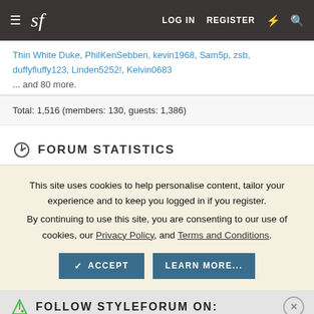sf | LOG IN  REGISTER
Thin White Duke, PhilKenSebben, kevin1968, Sam5p, zsb, duffyfluffy123, Linden5252!, Kelvin0683
... and 80 more.
Total: 1,516 (members: 130, guests: 1,386)
FORUM STATISTICS
This site uses cookies to help personalise content, tailor your experience and to keep you logged in if you register.
By continuing to use this site, you are consenting to our use of cookies, our Privacy Policy, and Terms and Conditions.
ACCEPT   LEARN MORE...
FOLLOW STYLEFORUM ON:
[Figure (screenshot): Advertisement banner with Facebook icon, circular logo, play button, checkmark, 'In-store shopping' text, and navigation arrow icon]